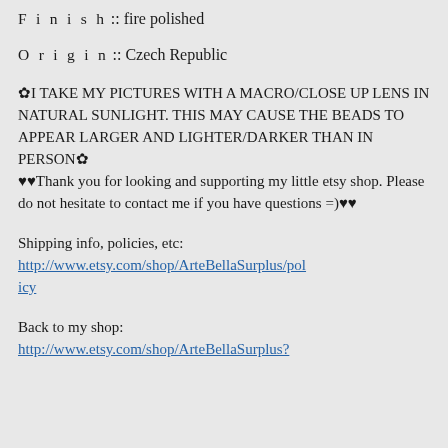F i n i s h :: fire polished
O r i g i n :: Czech Republic
✿I TAKE MY PICTURES WITH A MACRO/CLOSE UP LENS IN NATURAL SUNLIGHT. THIS MAY CAUSE THE BEADS TO APPEAR LARGER AND LIGHTER/DARKER THAN IN PERSON✿
♥♥Thank you for looking and supporting my little etsy shop. Please do not hesitate to contact me if you have questions =)♥♥
Shipping info, policies, etc:
http://www.etsy.com/shop/ArteBellaSurplus/policy
Back to my shop:
http://www.etsy.com/shop/ArteBellaSurplus?